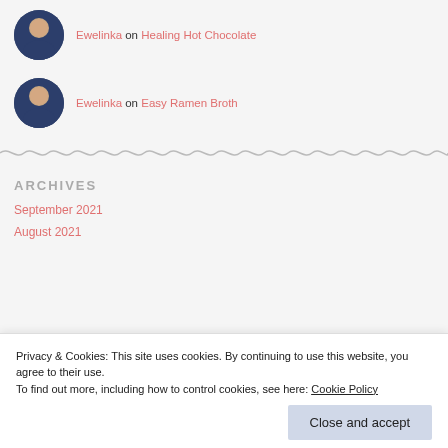Ewelinka on Healing Hot Chocolate
Ewelinka on Easy Ramen Broth
ARCHIVES
September 2021
August 2021
Privacy & Cookies: This site uses cookies. By continuing to use this website, you agree to their use.
To find out more, including how to control cookies, see here: Cookie Policy
Close and accept